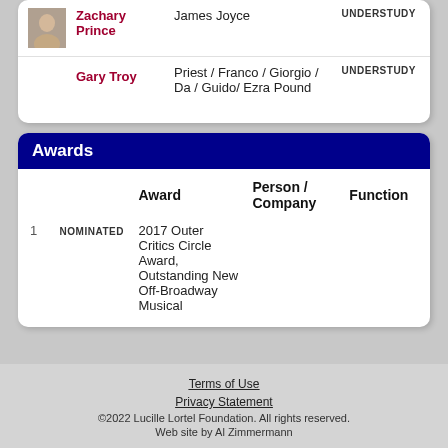|  | Name | Role | Type |
| --- | --- | --- | --- |
| [photo] | Zachary Prince | James Joyce | UNDERSTUDY |
|  | Gary Troy | Priest / Franco / Giorgio / Da / Guido/ Ezra Pound | UNDERSTUDY |
Awards
|  |  | Award | Person / Company | Function |
| --- | --- | --- | --- | --- |
| 1 | NOMINATED | 2017 Outer Critics Circle Award, Outstanding New Off-Broadway Musical |  |  |
Terms of Use
Privacy Statement
©2022 Lucille Lortel Foundation. All rights reserved.
Web site by Al Zimmermann